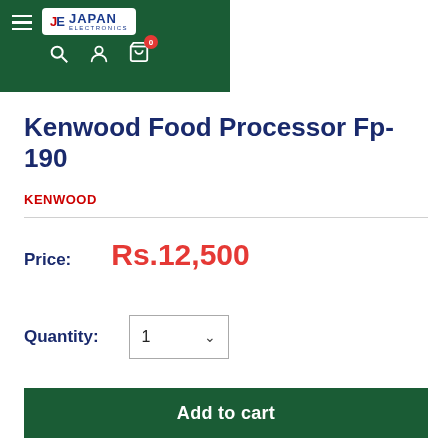[Figure (screenshot): Japan Electronics e-commerce website header with dark green background, hamburger menu, JE Japan Electronics logo, search icon, user account icon, and shopping cart icon with 0 badge]
Kenwood Food Processor Fp-190
KENWOOD
Price: Rs.12,500
Quantity: 1
Add to cart